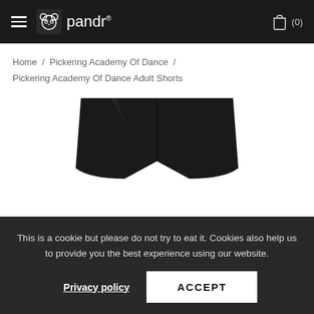pandr (0)
Home / Pickering Academy Of Dance / Pickering Academy Of Dance Adult Shorts
[Figure (photo): Black adult dance shorts product photo on white background]
This is a cookie but please do not try to eat it. Cookies also help us to provide you the best experience using our website.
Privacy policy   ACCEPT